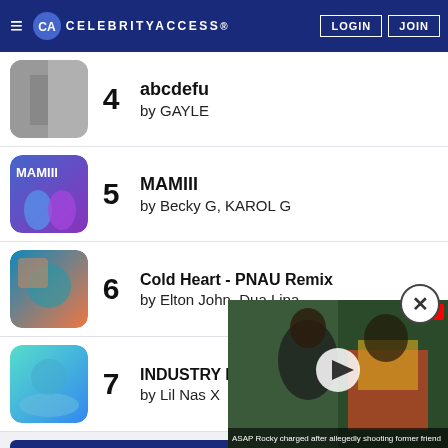CELEBRITYACCESS LOGIN JOIN
4 abcdefu by GAYLE
5 MAMIII by Becky G, KAROL G
6 Cold Heart - PNAU Remix by Elton John, Dua Lipa
7 INDUSTRY BABY (feat. Jack Harlow) by Lil Nas X
VIEW MORE SPO
[Figure (screenshot): Video overlay showing a person at what appears to be an event, with a play button and caption: ASAP Rocky charged after allegedly shooting former friend]